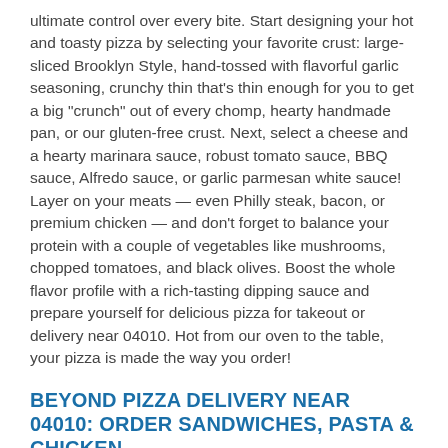ultimate control over every bite. Start designing your hot and toasty pizza by selecting your favorite crust: large-sliced Brooklyn Style, hand-tossed with flavorful garlic seasoning, crunchy thin that's thin enough for you to get a big "crunch" out of every chomp, hearty handmade pan, or our gluten-free crust. Next, select a cheese and a hearty marinara sauce, robust tomato sauce, BBQ sauce, Alfredo sauce, or garlic parmesan white sauce! Layer on your meats — even Philly steak, bacon, or premium chicken — and don't forget to balance your protein with a couple of vegetables like mushrooms, chopped tomatoes, and black olives. Boost the whole flavor profile with a rich-tasting dipping sauce and prepare yourself for delicious pizza for takeout or delivery near 04010. Hot from our oven to the table, your pizza is made the way you order!
BEYOND PIZZA DELIVERY NEAR 04010: ORDER SANDWICHES, PASTA & CHICKEN
Domino's pizza might be a heart-warming staple at some of life's biggest events, like sports games, movie nights, sleepovers, and birthday celebrations, but so are other types of food. And